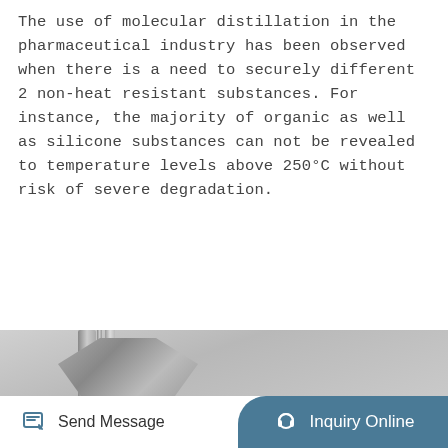The use of molecular distillation in the pharmaceutical industry has been observed when there is a need to securely different 2 non-heat resistant substances. For instance, the majority of organic as well as silicone substances can not be revealed to temperature levels above 250°C without risk of severe degradation.
[Figure (other): Button labeled 'Learn More' with olive/golden background color]
[Figure (other): Back-to-top button with upward chevron and text 'TOP']
[Figure (photo): Close-up photograph of a molecular distillation apparatus showing metal rods, clamps, white ceramic insulator, and stainless steel flange components against a light grey background]
[Figure (other): Website footer bar with 'Send Message' button on left (white background with edit icon) and 'Inquiry Online' button on right (teal/blue rounded background with headset icon)]